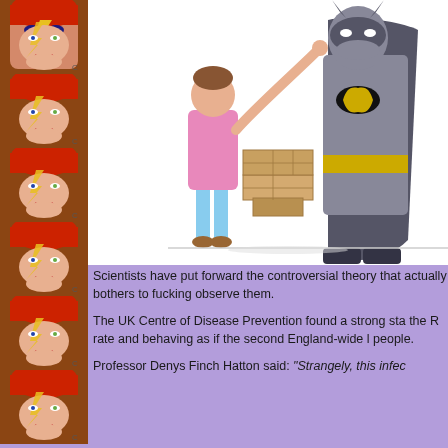[Figure (illustration): Left strip of repeating David Bowie Ziggy Stardust portrait photos stacked vertically]
[Figure (illustration): Cartoon illustration of a short person in pink shirt and blue shorts standing on stacked boxes to reach up and tap Batman on the shoulder. Batman stands taller in his grey suit and cape.]
Scientists have put forward the controversial theory that actually bothers to fucking observe them.
The UK Centre of Disease Prevention found a strong sta the R rate and behaving as if the second England-wide l people.
Professor Denys Finch Hatton said: “Strangely, this infec